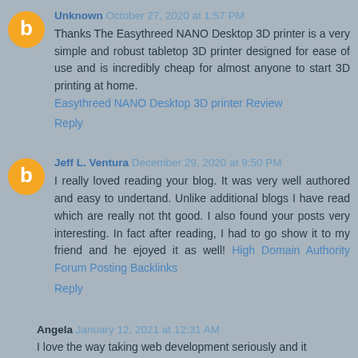Unknown October 27, 2020 at 1:57 PM
Thanks The Easythreed NANO Desktop 3D printer is a very simple and robust tabletop 3D printer designed for ease of use and is incredibly cheap for almost anyone to start 3D printing at home. Easythreed NANO Desktop 3D printer Review
Reply
Jeff L. Ventura December 29, 2020 at 9:50 PM
I really loved reading your blog. It was very well authored and easy to undertand. Unlike additional blogs I have read which are really not tht good. I also found your posts very interesting. In fact after reading, I had to go show it to my friend and he ejoyed it as well! High Domain Authority Forum Posting Backlinks
Reply
Angela January 12, 2021 at 12:31 AM